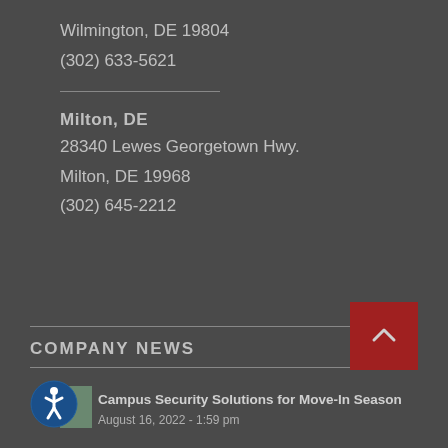Wilmington, DE 19804
(302) 633-5621
Milton, DE
28340 Lewes Georgetown Hwy.
Milton, DE 19968
(302) 645-2212
COMPANY NEWS
Campus Security Solutions for Move-In Season
August 16, 2022 - 1:59 pm